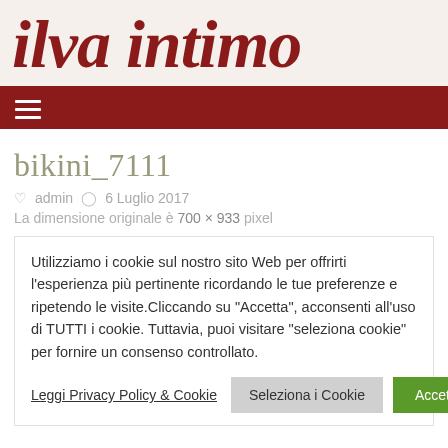ilva intimo
≡ navigation menu
bikini_7111
admin   6 Luglio 2017
La dimensione originale è 700 × 933 pixel
Utilizziamo i cookie sul nostro sito Web per offrirti l'esperienza più pertinente ricordando le tue preferenze e ripetendo le visite.Cliccando su "Accetta", acconsenti all'uso di TUTTI i cookie. Tuttavia, puoi visitare "seleziona cookie" per fornire un consenso controllato.
Leggi Privacy Policy & Cookie   Seleziona i Cookie   Accetta